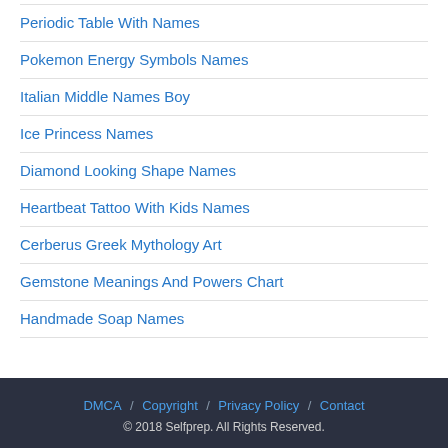Periodic Table With Names
Pokemon Energy Symbols Names
Italian Middle Names Boy
Ice Princess Names
Diamond Looking Shape Names
Heartbeat Tattoo With Kids Names
Cerberus Greek Mythology Art
Gemstone Meanings And Powers Chart
Handmade Soap Names
DMCA / Copyright / Privacy Policy / Contact © 2018 Selfprep. All Rights Reserved.